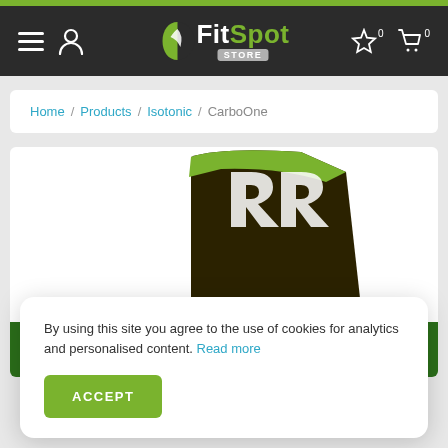FitSpot STORE — navigation header with hamburger menu, user icon, logo, wishlist and cart icons
Home / Products / Isotonic / CarboOne
[Figure (photo): Partial view of a black and green product bag (CarboOne isotonic supplement) with white logo mark, and a green banner at the bottom reading 'WITH HIGH ENERGY AND ... HIGH ENERGY AND REGENERATION PROCESS']
By using this site you agree to the use of cookies for analytics and personalised content. Read more
ACCEPT